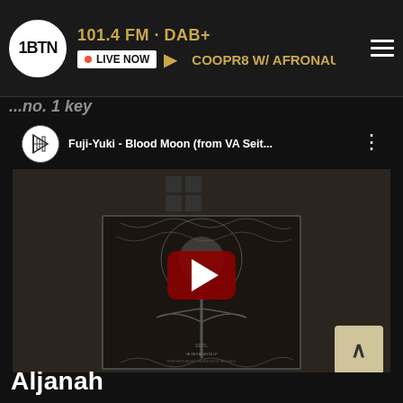1BTN · 101.4 FM · DAB+ · LIVE NOW · COOPR8 W/ AFRONAUT &
[Figure (screenshot): YouTube embedded video player showing album art for Fuji-Yuki - Blood Moon (from VA Seit...) with a red play button overlay. Dark background with album artwork visible.]
Fuji-Yuki - Blood Moon (from VA Seit...
Aljanah